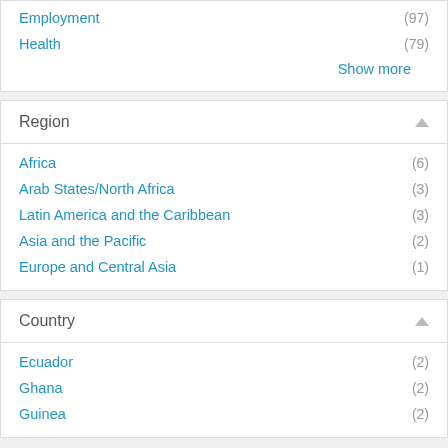Employment (97)
Health (79)
Show more
Region
Africa (6)
Arab States/North Africa (3)
Latin America and the Caribbean (3)
Asia and the Pacific (2)
Europe and Central Asia (1)
Country
Ecuador (2)
Ghana (2)
Guinea (2)